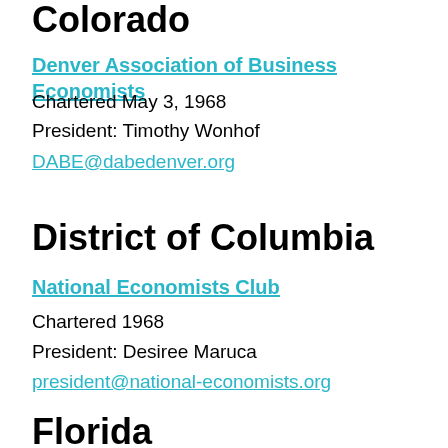Colorado
Denver Association of Business Economists
Chartered May 3, 1968
President: Timothy Wonhof
DABE@dabedenver.org
District of Columbia
National Economists Club
Chartered 1968
President: Desiree Maruca
president@national-economists.org
Florida